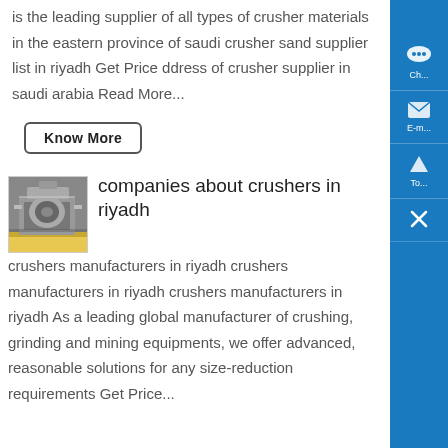is the leading supplier of all types of crusher materials in the eastern province of saudi crusher sand supplier list in riyadh Get Price ddress of crusher supplier in saudi arabia Read More...
Know More
[Figure (photo): Industrial crusher machine in a facility]
companies about crushers in riyadh
crushers manufacturers in riyadh crushers manufacturers in riyadh crushers manufacturers in riyadh As a leading global manufacturer of crushing, grinding and mining equipments, we offer advanced, reasonable solutions for any size-reduction requirements Get Price...